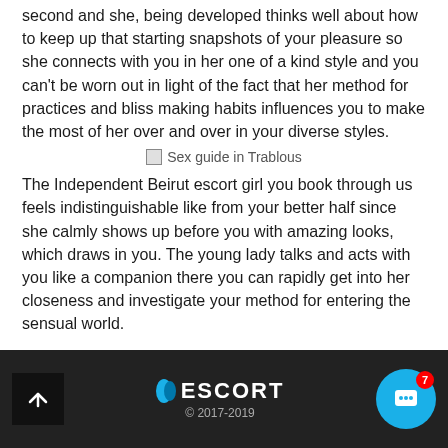second and she, being developed thinks well about how to keep up that starting snapshots of your pleasure so she connects with you in her one of a kind style and you can't be worn out in light of the fact that her method for practices and bliss making habits influences you to make the most of her over and over in your diverse styles.
[Figure (illustration): Broken/missing image placeholder with alt text 'Sex guide in Trablous']
The Independent Beirut escort girl you book through us feels indistinguishable like from your better half since she calmly shows up before you with amazing looks, which draws in you. The young lady talks and acts with you like a companion there you can rapidly get into her closeness and investigate your method for entering the sensual world.
ESCORT © 2017-2019